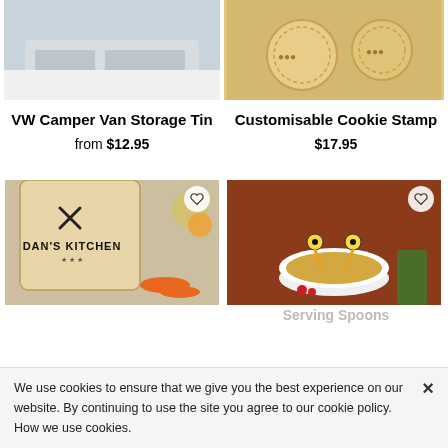[Figure (photo): Top portion of a VW Camper Van Storage Tin product image, showing light gray/silver surface]
[Figure (photo): Top portion of a Customisable Cookie Stamp product image, showing wooden cookie stamps on dough]
VW Camper Van Storage Tin
from $12.95
Customisable Cookie Stamp
$17.95
[Figure (photo): Dan's Kitchen personalised cutting board with carrots and vegetables, with heart wishlist button]
[Figure (photo): Monster spaghetti serving spoons in bowl of noodles on terracotta background, with heart wishlist button]
We use cookies to ensure that we give you the best experience on our website. By continuing to use the site you agree to our cookie policy. How we use cookies.
Serving Spoons